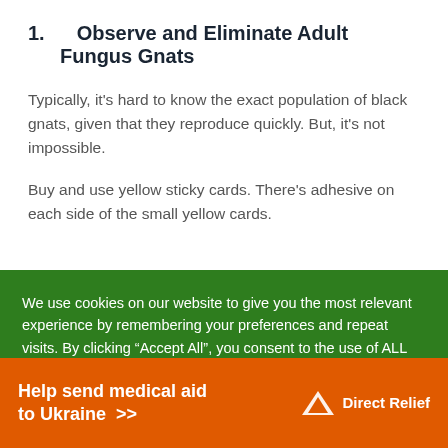1. Observe and Eliminate Adult Fungus Gnats
Typically, it's hard to know the exact population of black gnats, given that they reproduce quickly. But, it's not impossible.
Buy and use yellow sticky cards. There's adhesive on each side of the small yellow cards.
We use cookies on our website to give you the most relevant experience by remembering your preferences and repeat visits. By clicking “Accept All”, you consent to the use of ALL the cookies. However, you may visit "Cookie Settings" to
[Figure (infographic): Orange banner advertisement: 'Help send medical aid to Ukraine >>' with DirectRelief logo on the right]